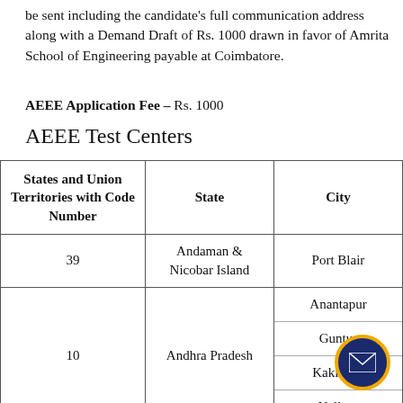be sent including the candidate's full communication address along with a Demand Draft of Rs. 1000 drawn in favor of Amrita School of Engineering payable at Coimbatore.
AEEE Application Fee – Rs. 1000
AEEE Test Centers
| States and Union Territories with Code Number | State | City |
| --- | --- | --- |
| 39 | Andaman & Nicobar Island | Port Blair |
| 10 | Andhra Pradesh | Anantapur
Guntur
Kakinada
Nellore |